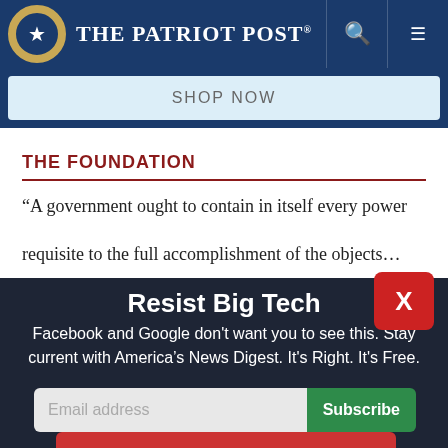The Patriot Post
SHOP NOW
THE FOUNDATION
“A government ought to contain in itself every power requisite to the full accomplishment of the objects…
Resist Big Tech
Facebook and Google don't want you to see this. Stay current with America’s News Digest. It's Right. It's Free.
Email address
Subscribe
I'm Already Subscribed